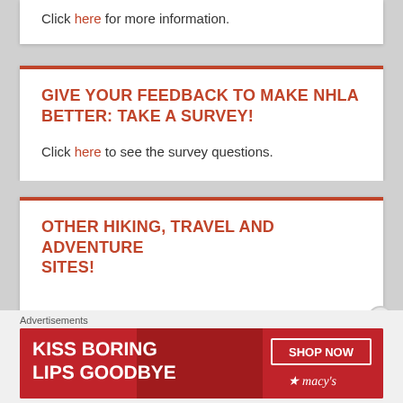Click here for more information.
GIVE YOUR FEEDBACK TO MAKE NHLA BETTER: TAKE A SURVEY!
Click here to see the survey questions.
OTHER HIKING, TRAVEL AND ADVENTURE SITES!
[Figure (other): Advertisement banner: Kiss Boring Lips Goodbye - Shop Now - Macy's, showing a woman's face with red lips]
Advertisements